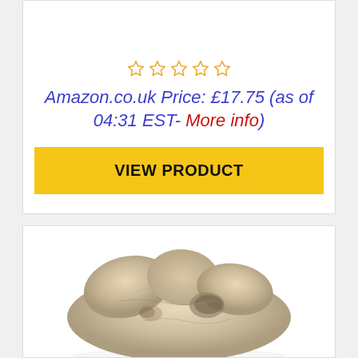☆☆☆☆☆
Amazon.co.uk Price: £17.75 (as of 04:31 EST- More info)
VIEW PRODUCT
[Figure (photo): Photograph of an animal bone or fossil, pale beige/tan colored, showing a vertebra or similar skeletal structure with holes and irregular surfaces, on a white background]